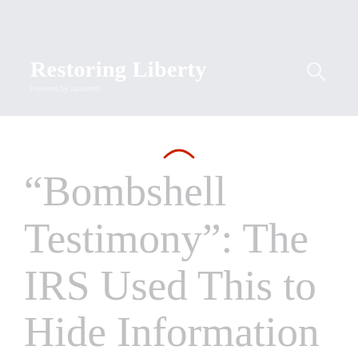Restoring Liberty — Powered by Jacksmith
“Bombshell Testimony”: The IRS Used This to Hide Information From Congress